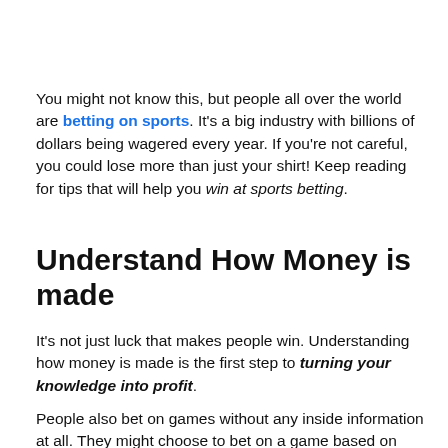You might not know this, but people all over the world are betting on sports. It's a big industry with billions of dollars being wagered every year. If you're not careful, you could lose more than just your shirt! Keep reading for tips that will help you win at sports betting.
Understand How Money is made
It's not just luck that makes people win. Understanding how money is made is the first step to turning your knowledge into profit.
People also bet on games without any inside information at all. They might choose to bet on a game based on who